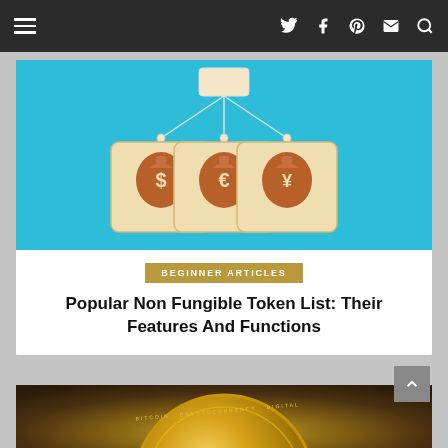Navigation bar with hamburger menu and social icons (Twitter, Facebook, Pinterest, Mail, Search)
[Figure (illustration): Wooden blocks with currency bag icons (dollar, euro, yen) connected by network lines on a cyan/blue background]
BEGINNER ARTICLES
Popular Non Fungible Token List: Their Features And Functions
[Figure (photo): Close-up photo of a gold Bitcoin coin on a blurred dark background]